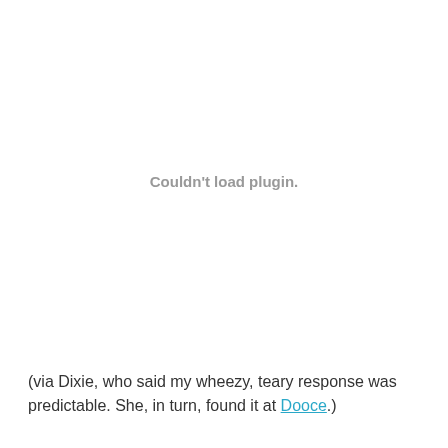Couldn't load plugin.
(via Dixie, who said my wheezy, teary response was predictable. She, in turn, found it at Dooce.)